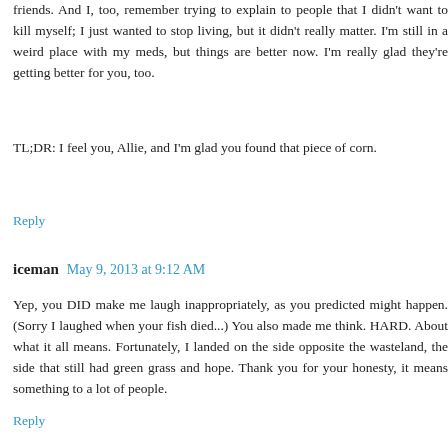friends. And I, too, remember trying to explain to people that I didn't want to kill myself; I just wanted to stop living, but it didn't really matter. I'm still in a weird place with my meds, but things are better now. I'm really glad they're getting better for you, too.
TL;DR: I feel you, Allie, and I'm glad you found that piece of corn.
Reply
iceman May 9, 2013 at 9:12 AM
Yep, you DID make me laugh inappropriately, as you predicted might happen. (Sorry I laughed when your fish died...) You also made me think. HARD. About what it all means. Fortunately, I landed on the side opposite the wasteland, the side that still had green grass and hope. Thank you for your honesty, it means something to a lot of people.
Reply